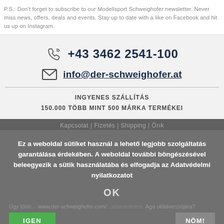P.S.: Don't forget to subscribe to our Modellsport Schweighofer newsletter. Never miss news, offers, deals and events. Stay up to date with a like on Facebook and hit us up on Instagram.
+43 3462 2541-100
info@der-schweighofer.at
INGYENES SZÁLLÍTÁS
150.000 TÖBB MINT 500 MÁRKA TERMÉKEI
Ez a weboldal sütiket használ a lehető legjobb szolgáltatás garantálása érdekében. A weboldal további böngészésével beleegyezik a sütik használatába és elfogadja az Adatvédelmi nyilatkozatot
OK
Kapcsolat | Fizetés | Shipping | Örık
Úgy tűnik www.der-schweighofer.com/...adatvédelem. Aga oldalverziójára?
IGEN
NÖM!